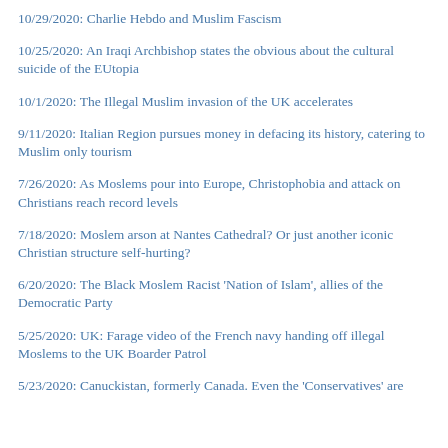10/29/2020:  Charlie Hebdo and Muslim Fascism
10/25/2020:  An Iraqi Archbishop states the obvious about the cultural suicide of the EUtopia
10/1/2020:  The Illegal Muslim invasion of the UK accelerates
9/11/2020:  Italian Region pursues money in defacing its history, catering to Muslim only tourism
7/26/2020:  As Moslems pour into Europe, Christophobia and attack on Christians reach record levels
7/18/2020:  Moslem arson at Nantes Cathedral? Or just another iconic Christian structure self-hurting?
6/20/2020:  The Black Moslem Racist 'Nation of Islam', allies of the Democratic Party
5/25/2020:  UK: Farage video of the French navy handing off illegal Moslems to the UK Boarder Patrol
5/23/2020:  Canuckistan, formerly Canada. Even the 'Conservatives' are